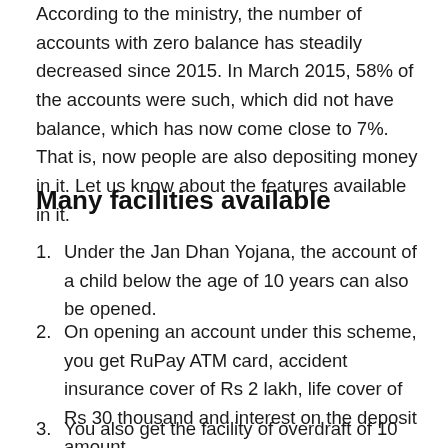According to the ministry, the number of accounts with zero balance has steadily decreased since 2015. In March 2015, 58% of the accounts were such, which did not have balance, which has now come close to 7%. That is, now people are also depositing money in it. Let us know about the features available in it.
Many facilities available
1. Under the Jan Dhan Yojana, the account of a child below the age of 10 years can also be opened.
2. On opening an account under this scheme, you get RuPay ATM card, accident insurance cover of Rs 2 lakh, life cover of Rs 30 thousand and interest on the deposit amount.
3. You also get the facility of overdraft of 10 thousand on